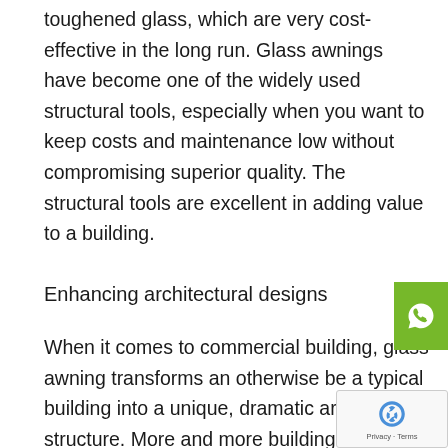toughened glass, which are very cost-effective in the long run. Glass awnings have become one of the widely used structural tools, especially when you want to keep costs and maintenance low without compromising superior quality. The structural tools are excellent in adding value to a building.
Enhancing architectural designs
When it comes to commercial building, glass awning transforms an otherwise be a typical building into a unique, dramatic architectural structure. More and more building owners from not only Malaysia but across the world are using glass awning to give a unique edge to their building. Glass awnings have a multitude of uses and are highly compatible with many architectural designs.
A stylish entrance with glass awning makes an unforgettable first impression and will definitely turn
[Figure (other): WhatsApp contact button (green square with WhatsApp icon)]
[Figure (other): reCAPTCHA privacy badge in bottom right corner showing recycling arrows logo with Privacy - Terms text]